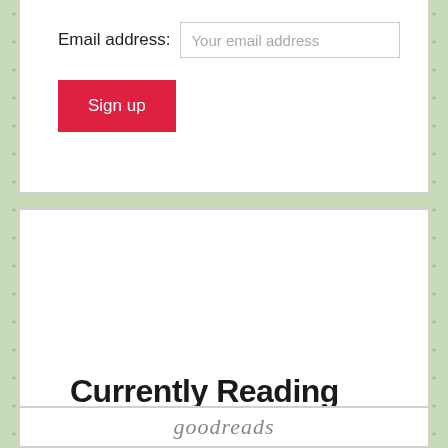Email address: Your email address
Sign up
Currently Reading
Privacy & Cookies: This site uses cookies. By continuing to use this website, you agree to their use.
To find out more, including how to control cookies, see here: Cookie Policy
Close and accept
[Figure (logo): Goodreads logo in italic serif font]